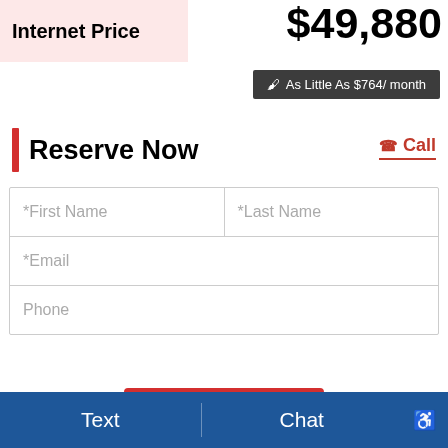Internet Price
$49,880
As Little As $764/ month
Reserve Now
Call
*First Name
*Last Name
*Email
Phone
Reserve Now
We use cookies to optimize our website and our service.
Cookie Policy   Privacy Statement
Your web browser (iOS 11) is out of date. Update your browser for more security, speed and
Text
Chat